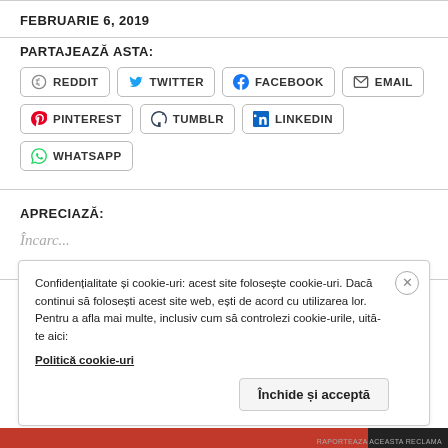FEBRUARIE 6, 2019
PARTAJEAZĂ ASTA:
REDDIT  TWITTER  FACEBOOK  EMAIL  PINTEREST  TUMBLR  LINKEDIN  WHATSAPP
APRECIAZĂ:
Încarc...
Confidențialitate și cookie-uri: acest site folosește cookie-uri. Dacă continui să folosești acest site web, ești de acord cu utilizarea lor. Pentru a afla mai multe, inclusiv cum să controlezi cookie-urile, uită-te aici: Politică cookie-uri
Închide și acceptă